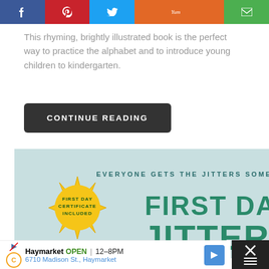[Figure (screenshot): Social media share bar with Facebook (blue), Pinterest (red), Twitter (light blue), Yummly (orange), and email (green) buttons]
This rhyming, brightly illustrated book is the perfect way to practice the alphabet and to introduce young children to kindergarten.
CONTINUE READING
[Figure (illustration): Book cover for 'First Day Jitters' Anniversary Edition featuring teal text on light blue background with a yellow star badge reading 'First Day Certificate Included' and tagline 'Everyone gets the jitters sometimes.']
WHAT'S NEXT
Ready. Set. Read. Onlin...
Haymarket OPEN | 12–8PM
6710 Madison St., Haymarket